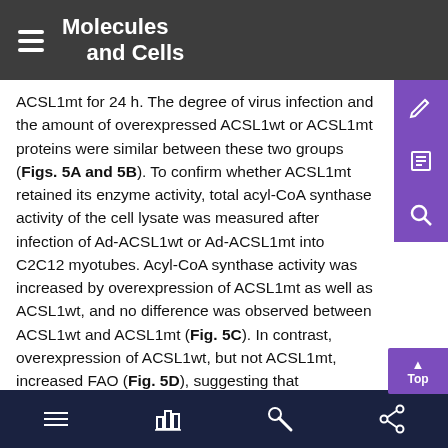Molecules and Cells
ACSL1mt for 24 h. The degree of virus infection and the amount of overexpressed ACSL1wt or ACSL1mt proteins were similar between these two groups (Figs. 5A and 5B). To confirm whether ACSL1mt retained its enzyme activity, total acyl-CoA synthase activity of the cell lysate was measured after infection of Ad-ACSL1wt or Ad-ACSL1mt into C2C12 myotubes. Acyl-CoA synthase activity was increased by overexpression of ACSL1mt as well as ACSL1wt, and no difference was observed between ACSL1wt and ACSL1mt (Fig. 5C). In contrast, overexpression of ACSL1wt, but not ACSL1mt, increased FAO (Fig. 5D), suggesting that overexpressed ACSL1 promoted FAO in myotubes and mitochondrial targeting is important for ACSL1 to mediate the FAO increase. We next tested whether ACSL1 overexpression ameliorated insulin resistance induced by palmitate in C2C12 myotubes. Insulin efficiently increased pAKT levels in ACSL1wt-overexpressed
navigation bar with icons